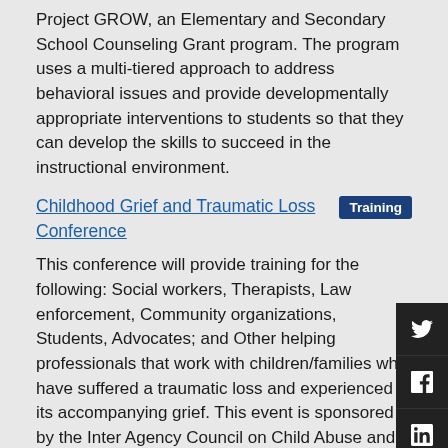Project GROW, an Elementary and Secondary School Counseling Grant program. The program uses a multi-tiered approach to address behavioral issues and provide developmentally appropriate interventions to students so that they can develop the skills to succeed in the instructional environment.
Childhood Grief and Traumatic Loss Conference
This conference will provide training for the following: Social workers, Therapists, Law enforcement, Community organizations, Students, Advocates; and Other helping professionals that work with children/families who have suffered a traumatic loss and experienced its accompanying grief. This event is sponsored by the Inter Agency Council on Child Abuse and Neglect (ICAN). Registration: Register for the in-person event.
National Conference on Education
The conference includes peer to peer networking...